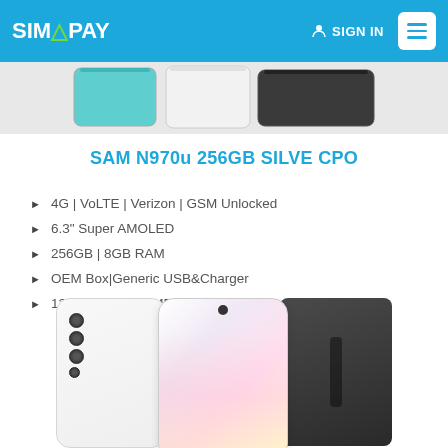SIMAPAY | SIGN IN
[Figure (photo): Three Samsung Galaxy Note 10+ phones in different colors shown from the top portion]
SAM N970u 256GB SILVE CPO
4G | VoLTE | Verizon | GSM Unlocked
6.3" Super AMOLED
256GB | 8GB RAM
OEM Box|Generic USB&Charger
12MP+12MP+16MP | 10MP
[Figure (photo): Samsung Galaxy Note 10+ shown from front, back, and with case — silver/white color with iridescent display]